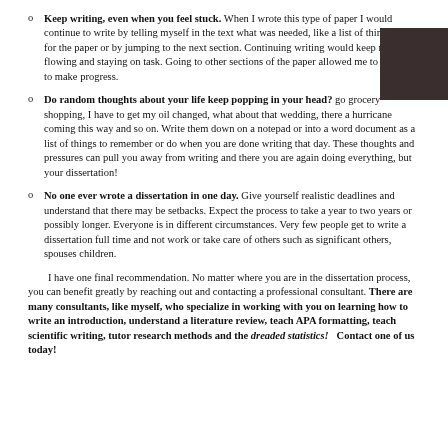Keep writing, even when you feel stuck. When I wrote this type of paper I would continue to write by telling myself in the text what was needed, like a list of things to get for the paper or by jumping to the next section. Continuing writing would keep my mind flowing and staying on task. Going to other sections of the paper allowed me to continue to make progress.
Do random thoughts about your life keep popping in your head? go grocery shopping, I have to get my oil changed, what about that wedding, there a hurricane coming this way and so on. Write them down on a notepad or into a word document as a list of things to remember or do when you are done writing that day. These thoughts and pressures can pull you away from writing and there you are again doing everything, but your dissertation!
No one ever wrote a dissertation in one day. Give yourself realistic deadlines and understand that there may be setbacks. Expect the process to take a year to two years or possibly longer. Everyone is in different circumstances. Very few people get to write a dissertation full time and not work or take care of others such as significant others, spouses children.
I have one final recommendation. No matter where you are in the dissertation process, you can benefit greatly by reaching out and contacting a professional consultant. There are many consultants, like myself, who specialize in working with you on learning how to write an introduction, understand a literature review, teach APA formatting, teach scientific writing, tutor research methods and the dreaded statistics!   Contact one of us today!